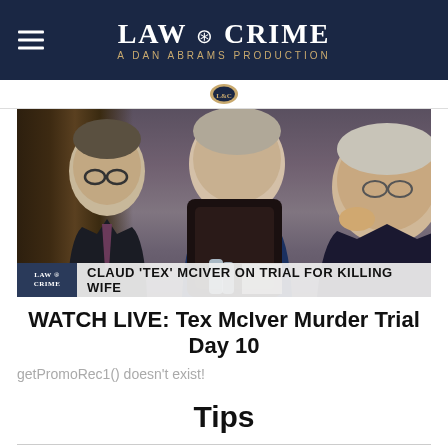LAW & CRIME — A DAN ABRAMS PRODUCTION
[Figure (screenshot): Courtroom photo showing three men in suits seated at a defense table, with a lower-third graphic reading: LAW & CRIME | CLAUD 'TEX' MCIVER ON TRIAL FOR KILLING WIFE]
WATCH LIVE: Tex McIver Murder Trial Day 10
getPromoRec1() doesn't exist!
Tips